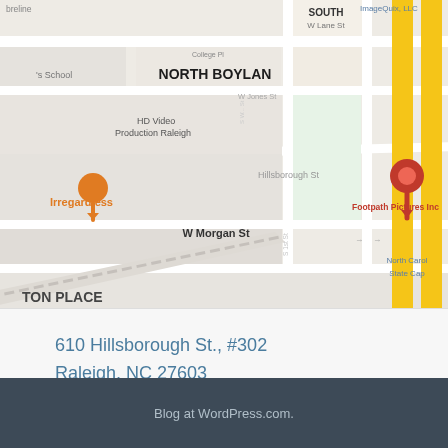[Figure (map): Google Maps screenshot showing North Boylan area in Raleigh, NC. Visible labels include NORTH BOYLAN, ST MARYS TOWNHOMES, TON PLACE, Hillsborough St, W Morgan St, ImageQuix LLC, Footpath Pictures Inc, North Carol State Cap, DEPOT HISTORIC DISTRICT, Raleigh Union Station, Irregardless, HD Video Production Raleigh, David Spector. A red location pin is centered near Hillsborough St. Major roads shown with yellow highlights.]
610 Hillsborough St., #302
Raleigh, NC 27603
919.272.8615
Blog at WordPress.com.